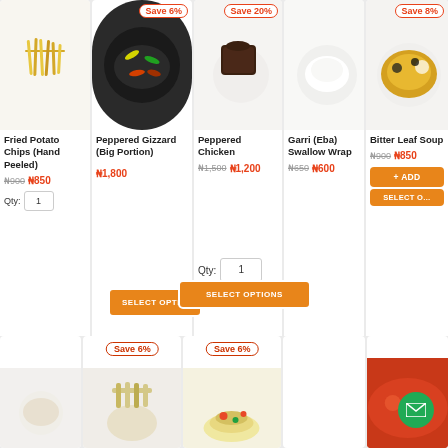[Figure (screenshot): E-commerce food ordering page showing product cards with food items, prices (in Nigerian Naira), save badges, quantity inputs, and orange SELECT OPTIONS / ADD buttons]
Save 6%
Save 20%
Save 8%
Fried Potato Chips (Hand Peeled)
Peppered Gizzard (Big Portion)
Peppered Chicken
Garri (Eba) Swallow Wrap
Bitter Leaf Soup
₦900  ₦850
₦1,800
₦1,500  ₦1,200
₦650  ₦600
₦900  ₦850
Qty: 1
SELECT OPTIONS
Qty: 1
SELECT OPTIONS
+ ADD
SELECT OPTIONS (partial)
Save 6%
Save 6%